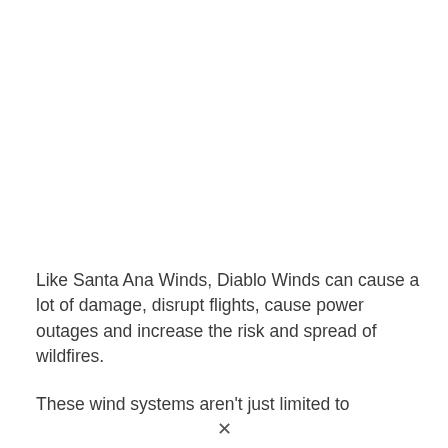Like Santa Ana Winds, Diablo Winds can cause a lot of damage, disrupt flights, cause power outages and increase the risk and spread of wildfires.
These wind systems aren't just limited to